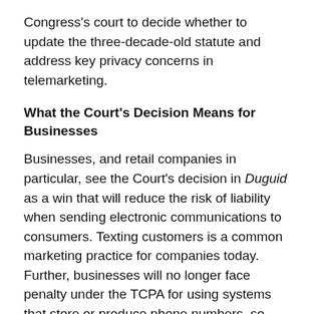Congress's court to decide whether to update the three-decade-old statute and address key privacy concerns in telemarketing.
What the Court's Decision Means for Businesses
Businesses, and retail companies in particular, see the Court's decision in Duguid as a win that will reduce the risk of liability when sending electronic communications to consumers. Texting customers is a common marketing practice for companies today. Further, businesses will no longer face penalty under the TCPA for using systems that store or produce phone numbers, so long as these systems do not use random or sequential number generators.
While Duguid narrows the scope of one specific provision of the TCPA, it by no means invalidates the